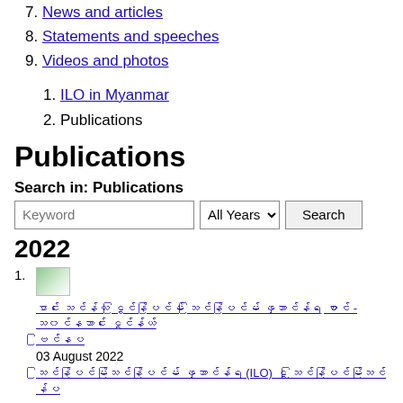7. News and articles
8. Statements and speeches
9. Videos and photos
1. ILO in Myanmar
2. Publications
Publications
Search in: Publications
Keyword | All Years | Search
2022
1. [image] [Myanmar script link] 03 August 2022 [Myanmar script description with (ILO)]